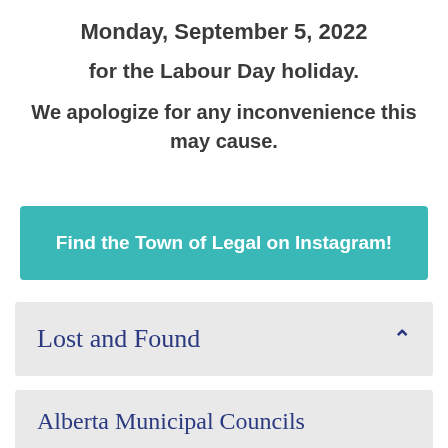Monday, September 5, 2022
for the Labour Day holiday.
We apologize for any inconvenience this may cause.
Find the Town of Legal on Instagram!
Lost and Found
Alberta Municipal Councils